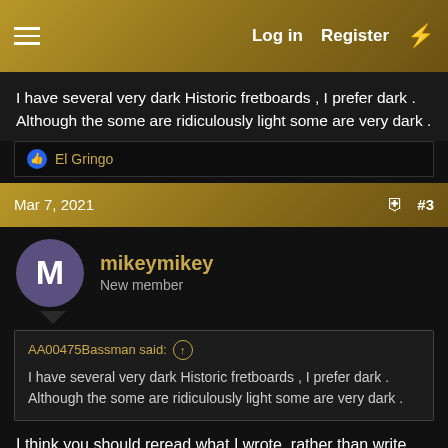Log in  Register
I have several very dark Historic fretboards , I prefer dark . Although the some are ridiculously light some are very dark .
El Gringo
Mar 7, 2021  #3
mikeymikey
New member
AA00475Bassman said: ↑
I have several very dark Historic fretboards , I prefer dark . Although the some are ridiculously light some are very dark .
I think you should reread what I wrote, rather than write nonsense comments.